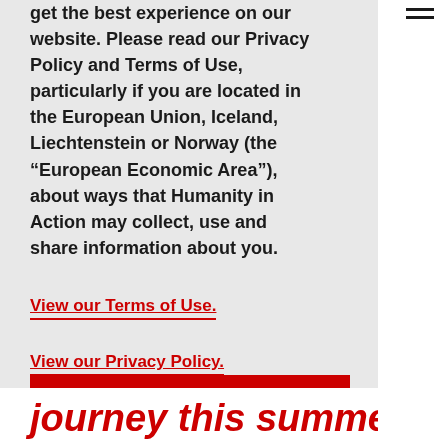get the best experience on our website. Please read our Privacy Policy and Terms of Use, particularly if you are located in the European Union, Iceland, Liechtenstein or Norway (the “European Economic Area”), about ways that Humanity in Action may collect, use and share information about you.
View our Terms of Use.
View our Privacy Policy.
ACCEPT
journey this summer.